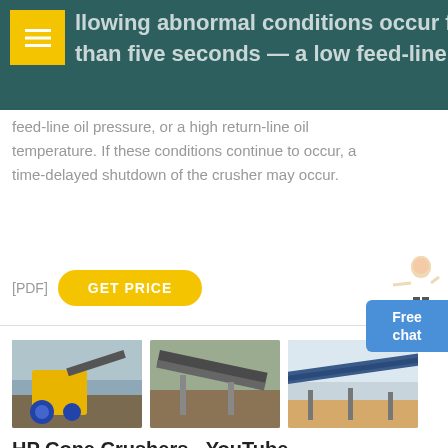llowing abnormal conditions occur for more than five seconds — a low feed-line oil flow, a low feed-line oil pressure, or a high return-line oil temperature. If these conditions continue to occur, a time-delayed shutdown of the crusher may occur.
feed-line oil pressure, or a high return-line oil temperature. If these conditions continue to occur, a time-delayed shutdown of the crusher may occur.
[PDF] GET PRICE
[Figure (photo): Three photos of HP cone crusher equipment and industrial machinery at a quarry/mining site]
HP Cone Crushers - YouTube